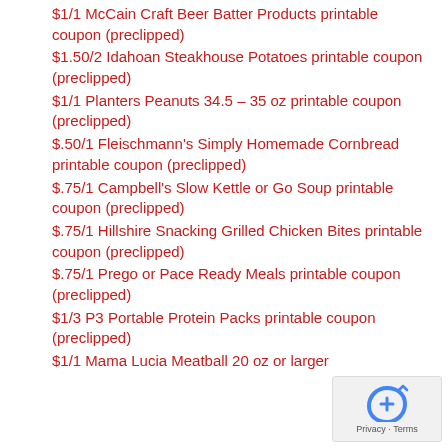$1/1 McCain Craft Beer Batter Products printable coupon (preclipped)
$1.50/2 Idahoan Steakhouse Potatoes printable coupon (preclipped)
$1/1 Planters Peanuts 34.5 – 35 oz printable coupon (preclipped)
$.50/1 Fleischmann's Simply Homemade Cornbread printable coupon (preclipped)
$.75/1 Campbell's Slow Kettle or Go Soup printable coupon (preclipped)
$.75/1 Hillshire Snacking Grilled Chicken Bites printable coupon (preclipped)
$.75/1 Prego or Pace Ready Meals printable coupon (preclipped)
$1/3 P3 Portable Protein Packs printable coupon (preclipped)
$1/1 Mama Lucia Meatball 20 oz or larger